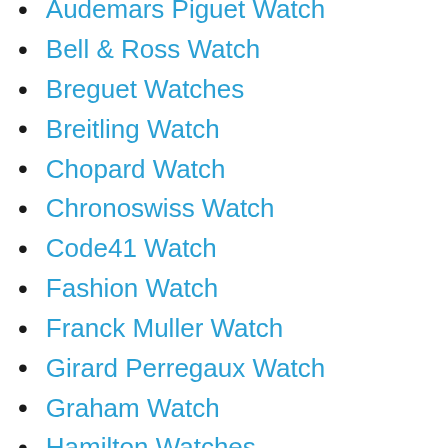Audemars Piguet Watch
Bell & Ross Watch
Breguet Watches
Breitling Watch
Chopard Watch
Chronoswiss Watch
Code41 Watch
Fashion Watch
Franck Muller Watch
Girard Perregaux Watch
Graham Watch
Hamilton Watches
IWC Watch
Jacob & Co Watch
Linde Werdelin Watch
Nomos Watch
Omega Watch